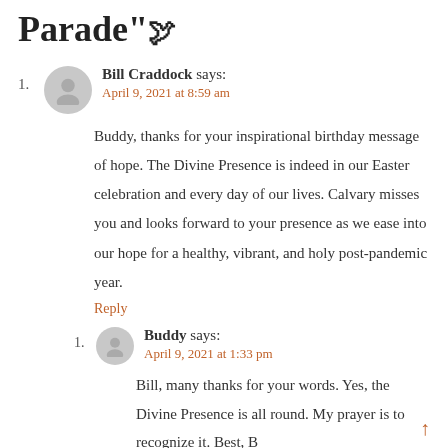Parade"
1. Bill Craddock says:
April 9, 2021 at 8:59 am
Buddy, thanks for your inspirational birthday message of hope. The Divine Presence is indeed in our Easter celebration and every day of our lives. Calvary misses you and looks forward to your presence as we ease into our hope for a healthy, vibrant, and holy post-pandemic year.
Reply
1. Buddy says:
April 9, 2021 at 1:33 pm
Bill, many thanks for your words. Yes, the Divine Presence is all round. My prayer is to recognize it. Best, B
Reply